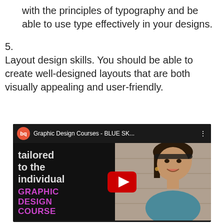with the principles of typography and be able to use type effectively in your designs.
5. Layout design skills. You should be able to create well-designed layouts that are both visually appealing and user-friendly.
[Figure (screenshot): YouTube video thumbnail showing a graphic design course video. Left half shows black background with white text 'tailored to the individual' and pink/purple bold text 'GRAPHIC DESIGN COURSE', with a red YouTube play button overlay. Top bar shows a red circular logo with 'bq' text, and title 'Graphic Design Courses - BLUE SK...'. Right half shows a young woman smiling at the camera outdoors.]